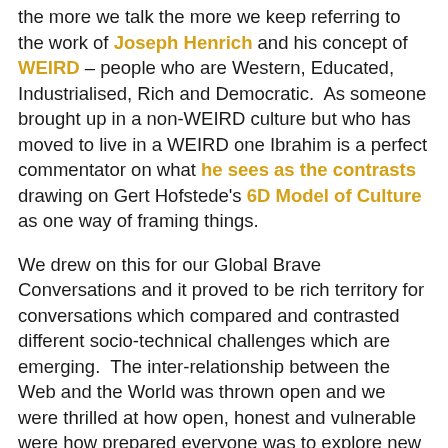the more we talk the more we keep referring to the work of Joseph Henrich and his concept of WEIRD – people who are Western, Educated, Industrialised, Rich and Democratic.  As someone brought up in a non-WEIRD culture but who has moved to live in a WEIRD one Ibrahim is a perfect commentator on what he sees as the contrasts drawing on Gert Hofstede's 6D Model of Culture as one way of framing things.
We drew on this for our Global Brave Conversations and it proved to be rich territory for conversations which compared and contrasted different socio-technical challenges which are emerging.  The inter-relationship between the Web and the World was thrown open and we were thrilled at how open, honest and vulnerable were how prepared everyone was to explore new opportunities and ways of navigating the world.